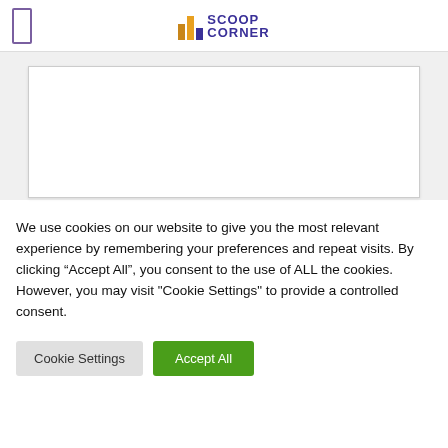Scoop Corner
[Figure (other): White box content area on gray background]
We use cookies on our website to give you the most relevant experience by remembering your preferences and repeat visits. By clicking “Accept All”, you consent to the use of ALL the cookies. However, you may visit "Cookie Settings" to provide a controlled consent.
Cookie Settings | Accept All